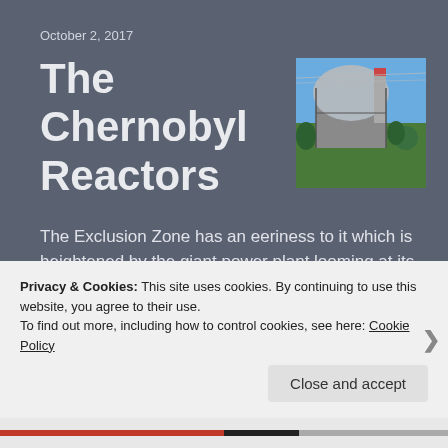October 2, 2017
The Chernobyl Reactors
[Figure (photo): Photograph of the Chernobyl nuclear power plant with the new Sarcophagus dome structure visible, surrounded by trees and construction equipment against a blue sky.]
The Exclusion Zone has an eeriness to it which is heightened by the giant power plant looming at its center. An already massive building housing four reactors was made even more so once the Sarcophagus was slid into place over it late in 2016. This gleaming new dome, at over three hundred feet tall in… Continue reading
Privacy & Cookies: This site uses cookies. By continuing to use this website, you agree to their use.
To find out more, including how to control cookies, see here: Cookie Policy
Close and accept